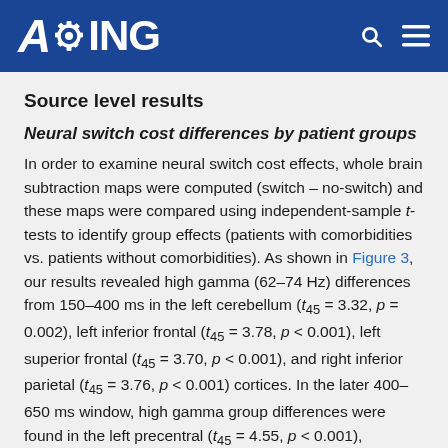AGING
Source level results
Neural switch cost differences by patient groups
In order to examine neural switch cost effects, whole brain subtraction maps were computed (switch – no-switch) and these maps were compared using independent-sample t-tests to identify group effects (patients with comorbidities vs. patients without comorbidities). As shown in Figure 3, our results revealed high gamma (62–74 Hz) differences from 150–400 ms in the left cerebellum (t45 = 3.32, p = 0.002), left inferior frontal (t45 = 3.78, p < 0.001), left superior frontal (t45 = 3.70, p < 0.001), and right inferior parietal (t45 = 3.76, p < 0.001) cortices. In the later 400–650 ms window, high gamma group differences were found in the left precentral (t45 = 4.55, p < 0.001),